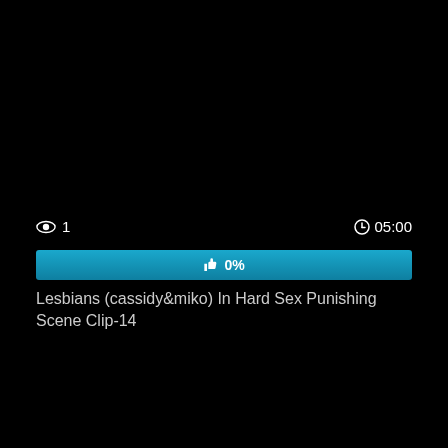👁 1
⏱05:00
[Figure (other): Blue progress bar showing 0% with thumbs up icon]
Lesbians (cassidy&miko) In Hard Sex Punishing Scene Clip-14